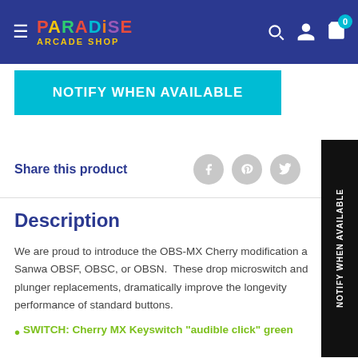Paradise Arcade Shop - navigation header
NOTIFY WHEN AVAILABLE
Share this product
Description
We are proud to introduce the OBS-MX Cherry modification a Sanwa OBSF, OBSC, or OBSN. These drop microswitch and plunger replacements, dramatically improve the longevity performance of standard buttons.
SWITCH: Cherry MX Keyswitch "audible click" green